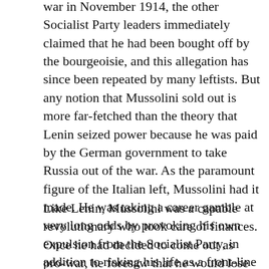war in November 1914, the other Socialist Party leaders immediately claimed that he had been bought off by the bourgeoisie, and this allegation has since been repeated by many leftists. But any notion that Mussolini sold out is more far-fetched than the theory that Lenin seized power because he was paid by the German government to take Russia out of the war. As the paramount figure of the Italian left, Mussolini had it made. He was taking a career gamble at very long odds by provoking his own expulsion from the Socialist Party, in addition to risking his life as a front-line soldier. (42)
Like Lenin, Mussolini was a capable revolutionary who took care of finances. Once he had decided to come out as pro-war, he foresaw that he would lose his income from the Socialist